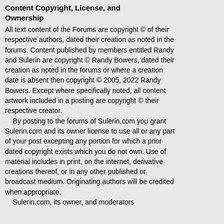Content Copyright, License, and Ownership
All text content of the Forums are copyright © of their respective authors, dated their creation as noted in the forums. Content published by members entitled Randy and Sulerin are copyright © Randy Bowers, dated their creation as noted in the forums or where a creation date is absent then copyright © 2005, 2022 Randy Bowers. Except where specifically noted, all content artwork included in a posting are copyright © their respective creator.
    By posting to the forums of Sulerin.com you grant Sulerin.com and its owner license to use all or any part of your post excepting any portion for which a prior dated copyright exists which you do not own. Use of material includes in print, on the internet, derivative creations thereof, or in any other published or broadcast medium. Originating authors will be credited when appropriate.
    Sulerin.com, its owner, and moderators